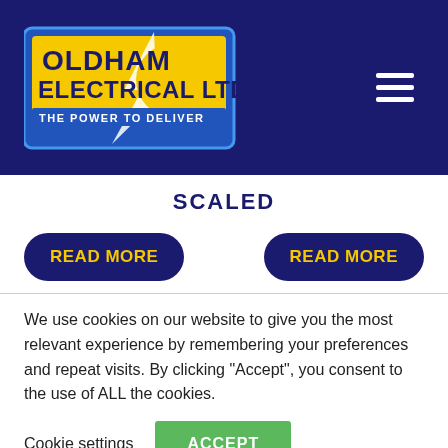[Figure (logo): Oldham Electrical Ltd logo — blue rectangle with yellow background, lightning bolt, text 'OLDHAM ELECTRICAL LTD. THE POWER TO DELIVER']
SCALED
READ MORE
READ MORE
We use cookies on our website to give you the most relevant experience by remembering your preferences and repeat visits. By clicking “Accept”, you consent to the use of ALL the cookies.
Cookie settings
ACCEPT